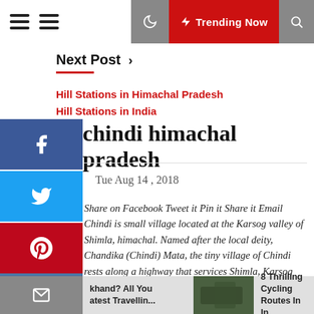Trending Now
Next Post
Hill Stations in Himachal Pradesh
Hill Stations in India
chindi himachal pradesh
Tue Aug 14 , 2018
Share on Facebook Tweet it Pin it Share it Email Chindi is small village located at the Karsog valley of Shimla, himachal. Named after the local deity, Chandika (Chindi) Mata, the tiny village of Chindi rests along a highway that services Shimla, Karsog and Mandi. A little further ahead, [...]
khand? All You atest Travellin...
8 Thrilling Cycling Routes In In...